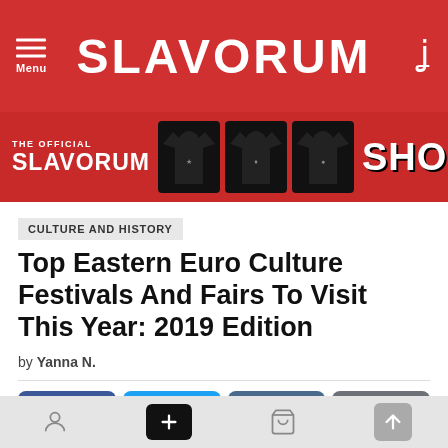SLAVORUM
[Figure (screenshot): Slavorum official shop banner with three black t-shirts and SHOP text]
CULTURE AND HISTORY
Top Eastern Euro Culture Festivals And Fairs To Visit This Year: 2019 Edition
by Yanna N.
[Figure (infographic): Social share buttons: Facebook, Twitter, VK, Reddit]
Bottom navigation bar with user, plus, cart, and up arrow icons